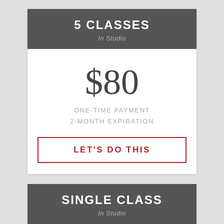5 CLASSES
In Studio
$80
ONE-TIME PAYMENT
2-MONTH EXPIRATION
LET'S DO THIS
SINGLE CLASS
In Studio